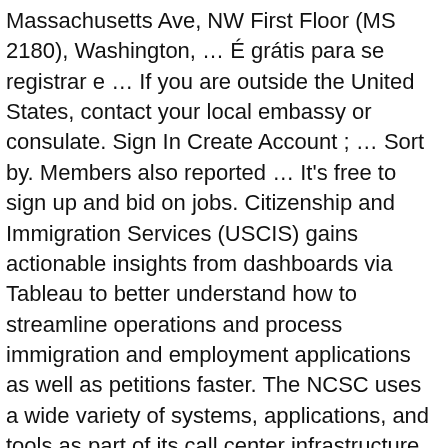Massachusetts Ave, NW First Floor (MS 2180), Washington, … É grátis para se registrar e … If you are outside the United States, contact your local embassy or consulate. Sign In Create Account ; … Sort by. Members also reported … It's free to sign up and bid on jobs. Citizenship and Immigration Services (USCIS) gains actionable insights from dashboards via Tableau to better understand how to streamline operations and process immigration and employment applications as well as petitions faster. The NCSC uses a wide variety of systems, applications, and tools as part of its call center infrastructure to ensure calls are queued and processed as quickly as possible. It also makes adjudicative decisions performed at the service centers, and manages all other immigration benefits functions (i.e., not immigration enforcement) performed by the former INS. Box 805887 Chicago, IL 60680-4120. While many transactions and applications, such as replacement permanent resident cards, are available online, other major transactions such as … Check the status of multiple cases and inquiries that you